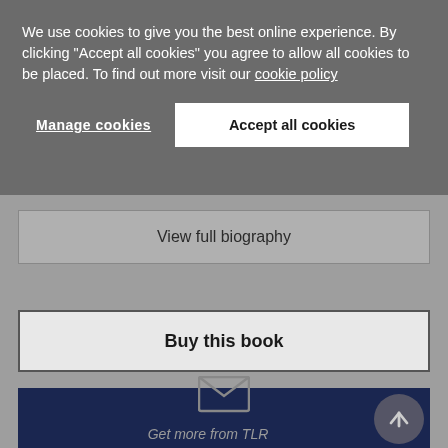We use cookies to give you the best online experience. By clicking "Accept all cookies" you agree to allow all cookies to be placed. To find out more visit our cookie policy
Manage cookies
Accept all cookies
View full biography
Buy this book
[Figure (screenshot): Get more from TLR section with envelope/mail icon and scroll-to-top circular button on dark navy background]
Get more from TLR